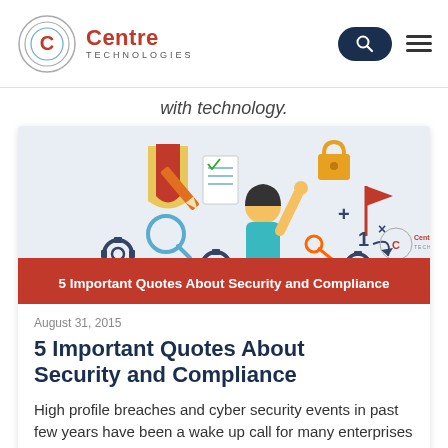[Figure (logo): Centre Technologies logo with circular C icon and red Centre text with TECHNOLOGIES below]
with technology.
[Figure (illustration): Security and compliance illustration showing a person pointing up surrounded by shield, lock, key, gears, documents, magnifying glass, checkmarks, and security icons. Red banner at bottom reads: 5 Important Quotes About Security and Compliance]
5 Important Quotes About Security and Compliance
August 31, 2015
5 Important Quotes About Security and Compliance
High profile breaches and cyber security events in past few years have been a wake up call for many enterprises in every